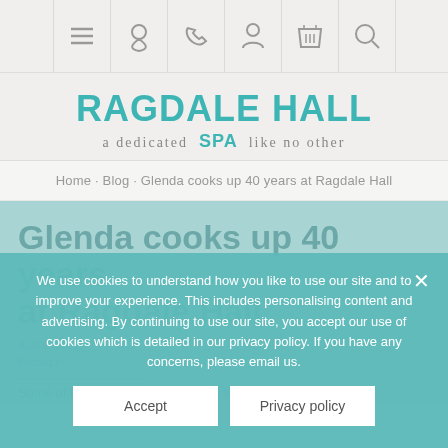[Figure (screenshot): Navigation bar with icons: hamburger menu, location pin, phone, person/account, shopping basket, search/magnifier]
RAGDALE HALL SPA
a dedicated SPA like no other
Home · Blog · Glenda cooks up 40 years at Ragdale Hall
Glenda cooks up 40 years at Ragdale Hall
April 2, 2019
Posted in
Some of the people most important to keeping Ragdale
We use cookies to understand how you like to use our site and to improve your experience. This includes personalising content and advertising. By continuing to use our site, you accept our use of cookies which is detailed in our privacy policy. If you have any concerns, please email us.
Accept
Privacy policy